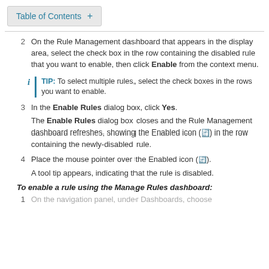Table of Contents +
2  On the Rule Management dashboard that appears in the display area, select the check box in the row containing the disabled rule that you want to enable, then click Enable from the context menu.
TIP: To select multiple rules, select the check boxes in the rows you want to enable.
3  In the Enable Rules dialog box, click Yes.
The Enable Rules dialog box closes and the Rule Management dashboard refreshes, showing the Enabled icon in the row containing the newly-disabled rule.
4  Place the mouse pointer over the Enabled icon.
A tool tip appears, indicating that the rule is disabled.
To enable a rule using the Manage Rules dashboard:
1  On the navigation panel, under Dashboards, choose